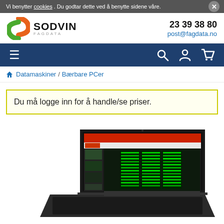Vi benytter cookies. Du godtar dette ved å benytte sidene våre.
[Figure (logo): Sodvin Fagdata logo with stylized green and orange S icon]
23 39 38 80
post@fagdata.no
[Figure (infographic): Navigation bar with hamburger menu, search icon, user icon, and cart icon on dark blue background]
Datamaskiner / Bærbare PCer
Du må logge inn for å handle/se priser.
[Figure (photo): Laptop computer showing a PowerPoint presentation with green server images on screen]